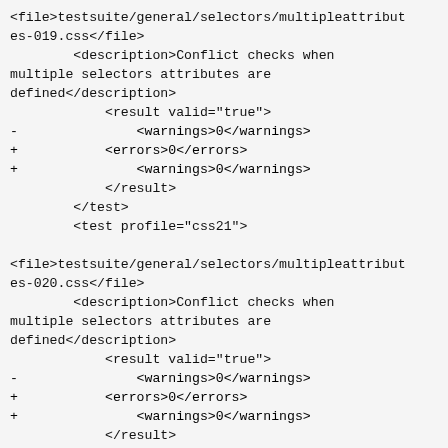<file>testsuite/general/selectors/multipleattributes-019.css</file>
        <description>Conflict checks when multiple selectors attributes are defined</description>
            <result valid="true">
-               <warnings>0</warnings>
+           <errors>0</errors>
+               <warnings>0</warnings>
            </result>
        </test>
        <test profile="css21">

<file>testsuite/general/selectors/multipleattributes-020.css</file>
        <description>Conflict checks when multiple selectors attributes are defined</description>
            <result valid="true">
-               <warnings>0</warnings>
+           <errors>0</errors>
+               <warnings>0</warnings>
            </result>
        </test>
        <test profile="css21">

<file>testsuite/general/selectors/multipleattributes-021.css</file>
        <description>Conflict checks when